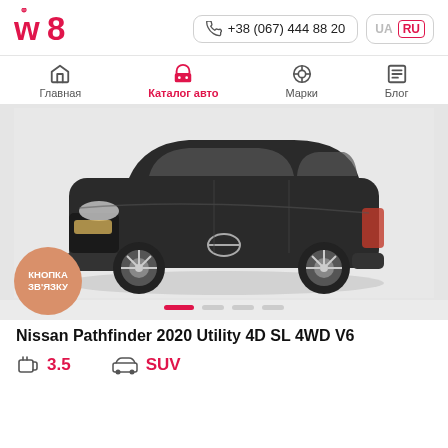w8 | +38 (067) 444 88 20 | UA RU
[Figure (logo): w8 logo in red/pink color]
+38 (067) 444 88 20
UA | RU
Главная
Каталог авто
Марки
Блог
[Figure (photo): Dark grey Nissan Pathfinder 2020 SUV on white background, three-quarter front view]
КНОПКА ЗВ'ЯЗКУ
Nissan Pathfinder 2020 Utility 4D SL 4WD V6
3.5
SUV